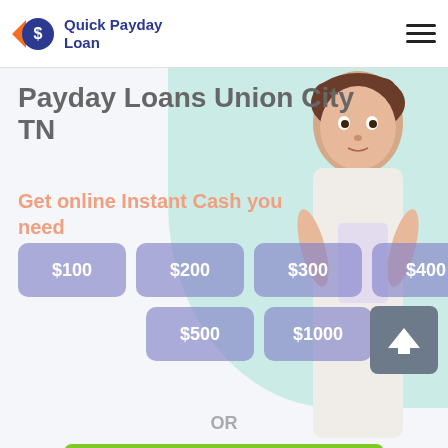Quick Payday Loan
Payday Loans Union City TN
Get online Instant Cash you need
$100
$200
$300
$400
$500
$1000
OR
Apply Now
Applying does NOT affect your credit score!
No credit check to apply.